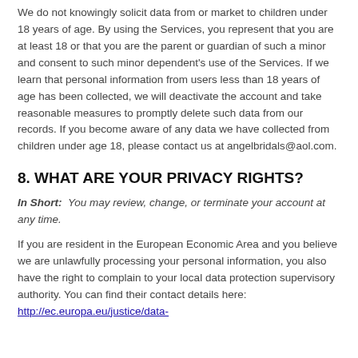We do not knowingly solicit data from or market to children under 18 years of age. By using the Services, you represent that you are at least 18 or that you are the parent or guardian of such a minor and consent to such minor dependent's use of the Services. If we learn that personal information from users less than 18 years of age has been collected, we will deactivate the account and take reasonable measures to promptly delete such data from our records. If you become aware of any data we have collected from children under age 18, please contact us at angelbridals@aol.com.
8. WHAT ARE YOUR PRIVACY RIGHTS?
In Short: You may review, change, or terminate your account at any time.
If you are resident in the European Economic Area and you believe we are unlawfully processing your personal information, you also have the right to complain to your local data protection supervisory authority. You can find their contact details here: http://ec.europa.eu/justice/data-